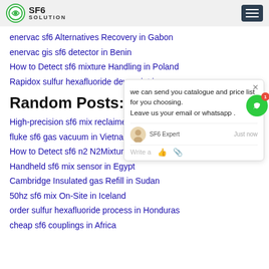SF6 SOLUTION
enervac sf6 Alternatives Recovery in Gabon
enervac gis sf6 detector in Benin
How to Detect sf6 mixture Handling in Poland
Rapidox sulfur hexafluoride dew point in...
Random Posts:
High-precision sf6 mix reclaimer in Serbia
fluke sf6 gas vacuum in Vietnam
How to Detect sf6 n2 N2Mixtures in Malaysia
Handheld sf6 mix sensor in Egypt
Cambridge Insulated gas Refill in Sudan
50hz sf6 mix On-Site in Iceland
order sulfur hexafluoride process in Honduras
cheap sf6 couplings in Africa